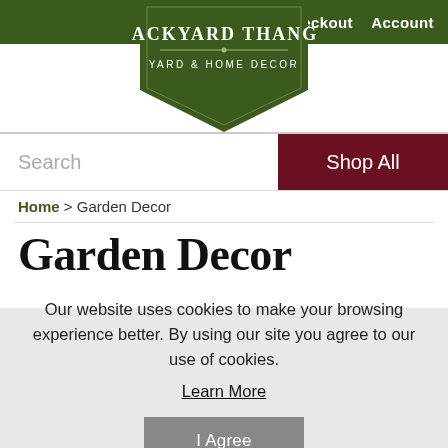Checkout   Account
[Figure (logo): Backyard Thangs Yard & Home Decor logo on a dark green shield/badge shape with white text]
Search
Shop All
Home > Garden Decor
Garden Decor
Our website uses cookies to make your browsing experience better. By using our site you agree to our use of cookies.
Learn More
I Agree